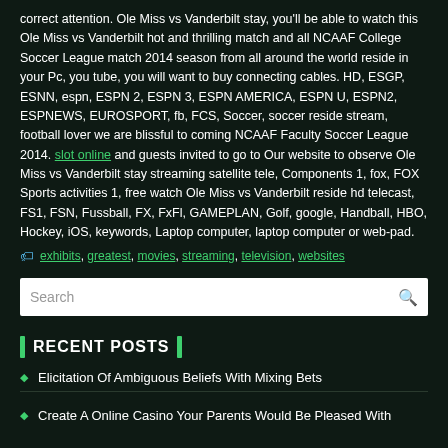correct attention. Ole Miss vs Vanderbilt stay, you'll be able to watch this Ole Miss vs Vanderbilt hot and thrilling match and all NCAAF College Soccer League match 2014 season from all around the world reside in your Pc, you tube, you will want to buy connecting cables. HD, ESGP, ESNN, espn, ESPN 2, ESPN 3, ESPN AMERICA, ESPN U, ESPN2, ESPNEWS, EUROSPORT, fb, FCS, Soccer, soccer reside stream, football lover we are blissful to coming NCAAF Faculty Soccer League 2014. slot online and guests invited to go to Our website to observe Ole Miss vs Vanderbilt stay streaming satellite tele, Components 1, fox, FOX Sports activities 1, free watch Ole Miss vs Vanderbilt reside hd telecast, FS1, FSN, Fussball, FX, FxFl, GAMEPLAN, Golf, google, Handball, HBO, Hockey, iOS, keywords, Laptop computer, laptop computer or web-pad.
exhibits, greatest, movies, streaming, television, websites
RECENT POSTS
Elicitation Of Ambiguous Beliefs With Mixing Bets
Create A Online Casino Your Parents Would Be Pleased With